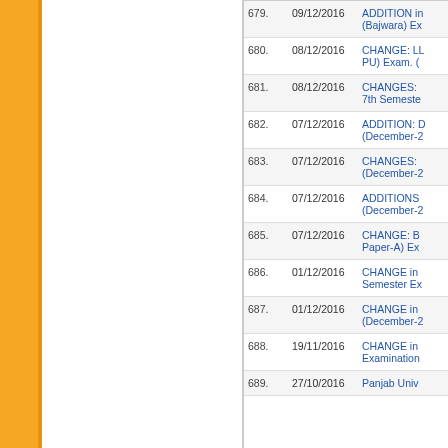| # | Date | Description |
| --- | --- | --- |
| 679. | 09/12/2016 | ADDITION in (Bajwara) Ex |
| 680. | 08/12/2016 | CHANGE: LL PU) Exam. ( |
| 681. | 08/12/2016 | CHANGES: 7th Semeste |
| 682. | 07/12/2016 | ADDITION: D (December-2 |
| 683. | 07/12/2016 | CHANGES: (December-2 |
| 684. | 07/12/2016 | ADDITIONS (December-2 |
| 685. | 07/12/2016 | CHANGE: B Paper-A) Ex |
| 686. | 01/12/2016 | CHANGE in Semester Ex |
| 687. | 01/12/2016 | CHANGE in (December-2 |
| 688. | 19/11/2016 | CHANGE in Examination |
| 689. | 27/10/2016 | Panjab Univ |